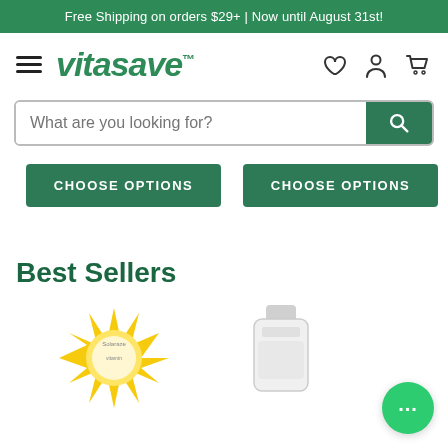Free Shipping on orders $29+ | Now until August 31st!
[Figure (logo): Vitasave logo with hamburger menu and navigation icons (heart, person, cart)]
What are you looking for?
CHOOSE OPTIONS
CHOOSE OPTIONS
Best Sellers
[Figure (photo): Yellow sunburst product packaging thumbnail]
[Figure (photo): White supplement bottle thumbnail]